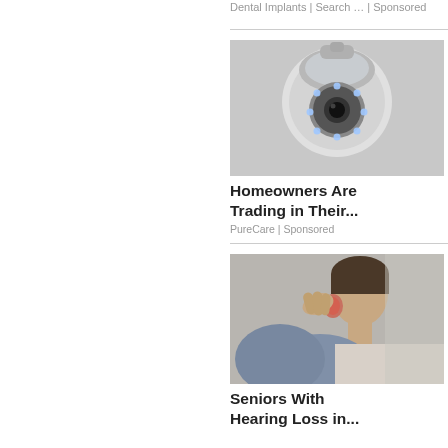Dental Implants | Search … | Sponsored
[Figure (photo): Close-up of a white security camera with blue LED ring lights]
Homeowners Are Trading in Their...
PureCare | Sponsored
[Figure (photo): A person having their ear examined by a healthcare professional, with a red highlight on the ear]
Seniors With Hearing Loss in...